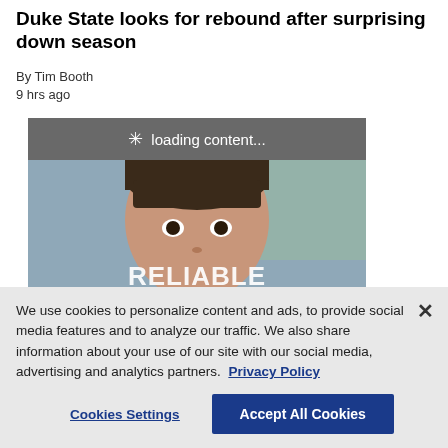Duke State looks for rebound after surprising down season
By Tim Booth
9 hrs ago
[Figure (photo): Loading content overlay on an image of a young girl with text 'RELIABLE INFORMATION' overlaid]
We use cookies to personalize content and ads, to provide social media features and to analyze our traffic. We also share information about your use of our site with our social media, advertising and analytics partners. Privacy Policy
Cookies Settings
Accept All Cookies